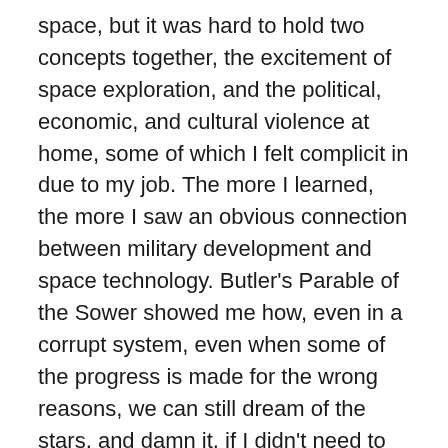space, but it was hard to hold two concepts together, the excitement of space exploration, and the political, economic, and cultural violence at home, some of which I felt complicit in due to my job. The more I learned, the more I saw an obvious connection between military development and space technology. Butler's Parable of the Sower showed me how, even in a corrupt system, even when some of the progress is made for the wrong reasons, we can still dream of the stars, and damn it, if I didn't need to hear that. It wasn't long after that I quit my job and went back to astronomy.
Twilight has always been my favorite time of the day; a gradient from light to deep blue stretches across the sky, a faint touch of pink and orange paints the horizon, and, if I'm lucky, Venus shines blazingly bright, welcoming the night. For a little while I could not look at the sky without a